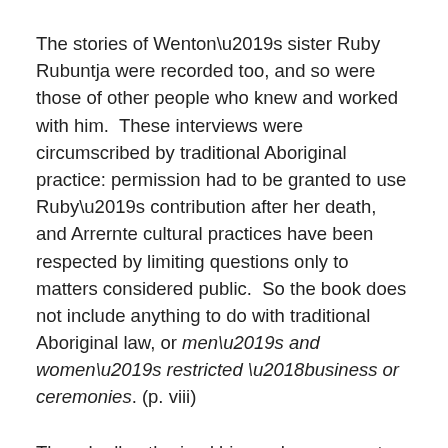The stories of Wenton's sister Ruby Rubuntja were recorded too, and so were those of other people who knew and worked with him.  These interviews were circumscribed by traditional Aboriginal practice: permission had to be granted to use Ruby's contribution after her death, and Arrernte cultural practices have been respected by limiting questions only to matters considered public.  So the book does not include anything to do with traditional Aboriginal law, or men's and women's restricted 'business or ceremonies. (p. viii)
Though all authorised biographers respect the wishes of their living subjects and may have to negotiate 'no-go' areas, this community-based autobiography combined with cultural prohibitions is, I suspect, quite a different approach to the usual practice of autobiography … It gives